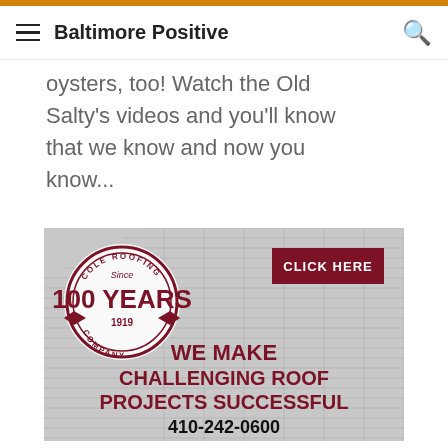Baltimore Positive
oysters, too! Watch the Old Salty's videos and you'll know that we know and now you know...
[Figure (illustration): Cole Roofing Company advertisement showing a circular badge with '100 Years Since 1919', a dark red 'CLICK HERE' button, bold text reading 'WE MAKE CHALLENGING ROOF PROJECTS SUCCESSFUL', and phone number '410-242-0600', with a rooftop background image.]